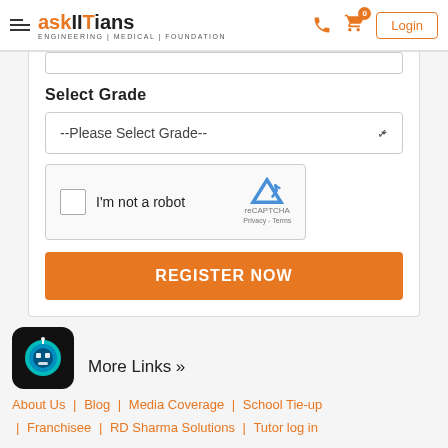askIITians ENGINEERING | MEDICAL | FOUNDATION — Login
Select Grade
--Please Select Grade--
[Figure (screenshot): reCAPTCHA widget with checkbox labeled 'I'm not a robot' and reCAPTCHA logo with Privacy - Terms links]
REGISTER NOW
[Figure (illustration): AI chatbot icon with blue robot face on dark background]
More Links »
About Us | Blog | Media Coverage | School Tie-up | Franchisee | RD Sharma Solutions | Tutor log in